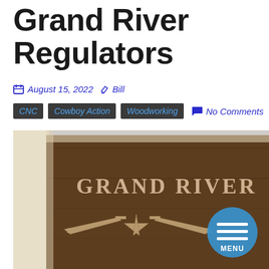Grand River Regulators
August 15, 2022  Bill
CNC  Cowboy Action  Woodworking  No Comments
[Figure (photo): A wooden CNC-carved sign reading 'GRAND RIVER' with decorative rifle and crossed-pistols motifs, mounted in a light wood frame. A blue circular menu button overlays the bottom right corner.]